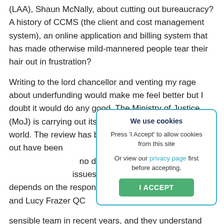(LAA), Shaun McNally, about cutting out bureaucracy? A history of CCMS (the client and cost management system), an online application and billing system that has made otherwise mild-mannered people tear their hair out in frustration?
Writing to the lord chancellor and venting my rage about underfunding would make me feel better but I doubt it would do any good. The Ministry of Justice (MoJ) is carrying out its review of legal aid in the world. The review has been thorough, those carrying it out have been spending considerable resources in understanding the issues. Whether they will be positive depends on the response of ministers David Gauke and Lucy Frazer QC... sensible team in recent years, and they understand
[Figure (other): Cookie consent dialog box with title 'We use cookies', message 'Press I Accept to allow cookies from this site', and an option to view the privacy page. Contains a green 'I ACCEPT' button.]